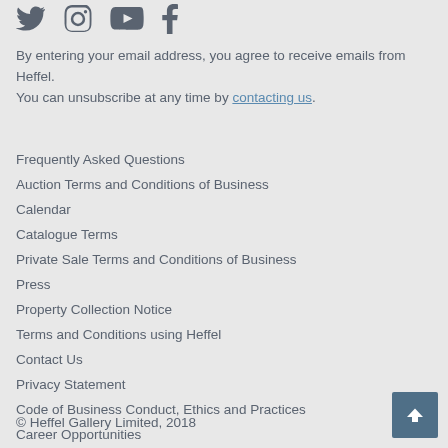[Figure (other): Social media icons: Twitter, Instagram, YouTube, Facebook]
By entering your email address, you agree to receive emails from Heffel.
You can unsubscribe at any time by contacting us.
Frequently Asked Questions
Auction Terms and Conditions of Business
Calendar
Catalogue Terms
Private Sale Terms and Conditions of Business
Press
Property Collection Notice
Terms and Conditions using Heffel
Contact Us
Privacy Statement
Code of Business Conduct, Ethics and Practices
Career Opportunities
© Heffel Gallery Limited, 2018